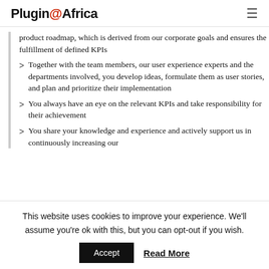Plugin @ Africa
product roadmap, which is derived from our corporate goals and ensures the fulfillment of defined KPIs
Together with the team members, our user experience experts and the departments involved, you develop ideas, formulate them as user stories, and plan and prioritize their implementation
You always have an eye on the relevant KPIs and take responsibility for their achievement
You share your knowledge and experience and actively support us in continuously increasing our
This website uses cookies to improve your experience. We'll assume you're ok with this, but you can opt-out if you wish.
Accept   Read More